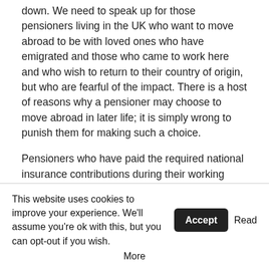down. We need to speak up for those pensioners living in the UK who want to move abroad to be with loved ones who have emigrated and those who came to work here and who wish to return to their country of origin, but who are fearful of the impact. There is a host of reasons why a pensioner may choose to move abroad in later life; it is simply wrong to punish them for making such a choice.
Pensioners who have paid the required national insurance contributions during their working lives, in the expectation of a decent basic pension in retirement, will find themselves living on incomes that fall in real terms year on year. Paying national insurance contributions to qualify for a state pension is mandatory. All recipients of the British state pension have made these contributions, and it is clearly unfair to differentiate
This website uses cookies to improve your experience. We'll assume you're ok with this, but you can opt-out if you wish. Accept Read More